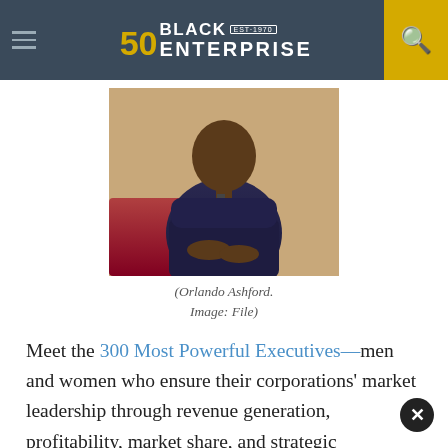Black Enterprise — EST. 1970 (50th anniversary logo)
[Figure (photo): Photo of Orlando Ashford, a man in a dark suit seated, looking sideways]
(Orlando Ashford. Image: File)
Meet the 300 Most Powerful Executives—men and women who ensure their corporations' market leadership through revenue generation, profitability, market share, and strategic development. As such, they hold top-tier and executive officer positions within the entire enterprise; operate core subsidiaries and divisions, and maintain billion-dollar budget